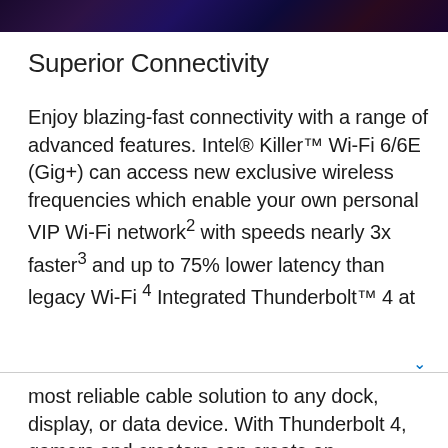[Figure (photo): Dark purple/blue gaming or tech themed image at top of page]
Superior Connectivity
Enjoy blazing-fast connectivity with a range of advanced features. Intel® Killer™ Wi-Fi 6/6E (Gig+) can access new exclusive wireless frequencies which enable your own personal VIP Wi-Fi network² with speeds nearly 3x faster³ and up to 75% lower latency than legacy Wi-Fi⁴ Integrated Thunderbolt™ 4 at
most reliable cable solution to any dock, display, or data device. With Thunderbolt 4, gamers and creators can create an immersive experience and easily record, edit, and share vivid photos and 4K videos by tapping